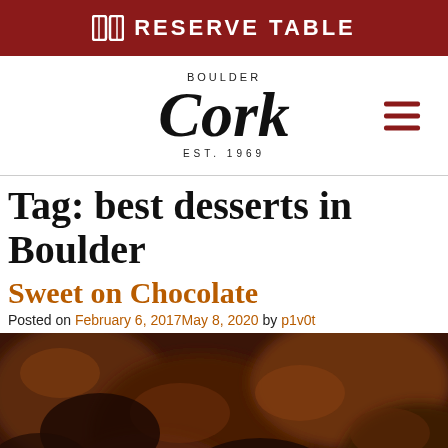RESERVE TABLE
[Figure (logo): Boulder Cork Est. 1969 restaurant logo with hamburger menu icon]
Tag: best desserts in Boulder
Sweet on Chocolate
Posted on February 6, 2017May 8, 2020 by p1v0t
[Figure (photo): Close-up blurred photo of chocolate pieces/desserts in dark brown tones]